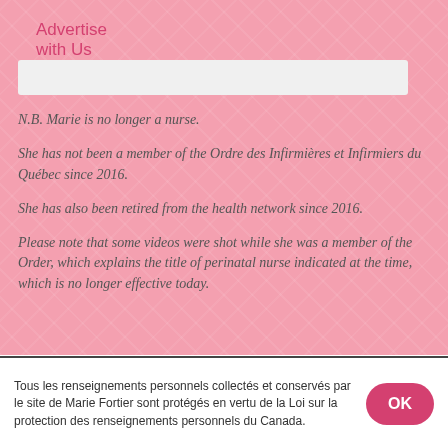Advertise with Us
N.B. Marie is no longer a nurse.

She has not been a member of the Ordre des Infirmières et Infirmiers du Québec since 2016.

She has also been retired from the health network since 2016.

Please note that some videos were shot while she was a member of the Order, which explains the title of perinatal nurse indicated at the time, which is no longer effective today.
Tous les renseignements personnels collectés et conservés par le site de Marie Fortier sont protégés en vertu de la Loi sur la protection des renseignements personnels du Canada.